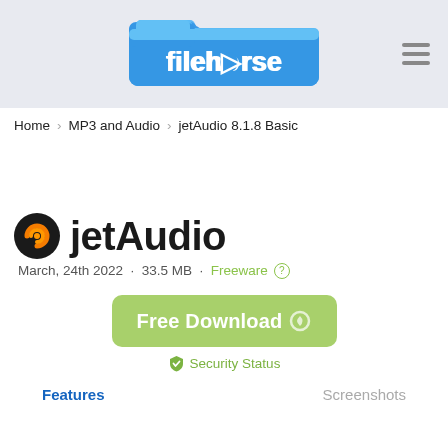[Figure (logo): Filehorse logo: blue folder icon with 'filehorse' text in white]
Home › MP3 and Audio › jetAudio 8.1.8 Basic
jetAudio
March, 24th 2022  ·  33.5 MB  ·  Freeware
[Figure (other): Free Download button (green rounded rectangle) with moon/loading icon]
Security Status
Features    Screenshots